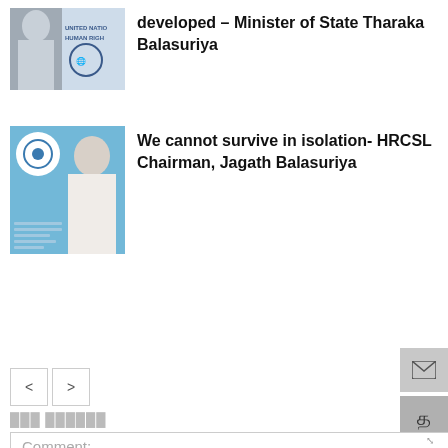[Figure (photo): Thumbnail image showing a person and a United Nations Human Rights logo]
developed – Minister of State Tharaka Balasuriya
[Figure (photo): Thumbnail image with HRCSL logo on blue background and a person]
We cannot survive in isolation- HRCSL Chairman, Jagath Balasuriya
நண்பர்கள் கருத்துக்கள்
Comment: